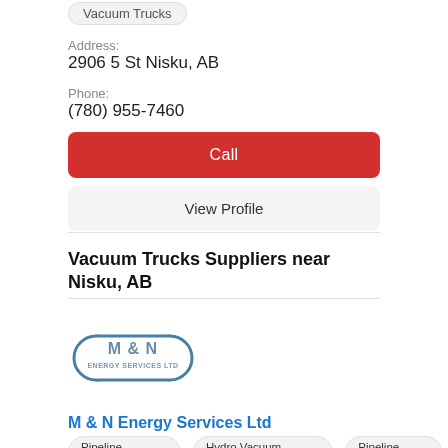Vacuum Trucks
Address:
2906 5 St Nisku, AB
Phone:
(780) 955-7460
Call
View Profile
Vacuum Trucks Suppliers near Nisku, AB
[Figure (logo): M & N Energy Services Ltd logo — bone/capsule shaped outline with company name inside]
M & N Energy Services Ltd
Pipeline Contractors
Hydro Vacuum Excavation
Pipeline Integrity